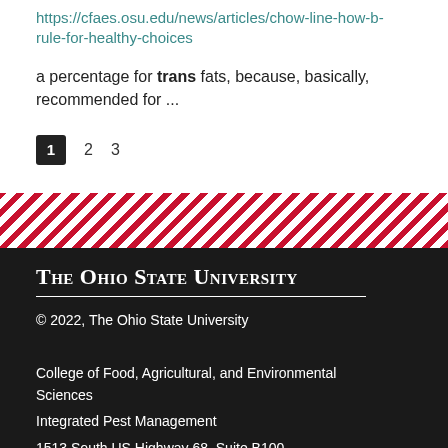https://cfaes.osu.edu/news/articles/chow-line-how-b-rule-for-healthy-choices
a percentage for trans fats, because, basically, recommended for ...
1  2  3
[Figure (other): Diagonal red and white stripe banner divider]
The Ohio State University
© 2022, The Ohio State University
College of Food, Agricultural, and Environmental Sciences
Integrated Pest Management
1512 South US Highway 68, Suite B100